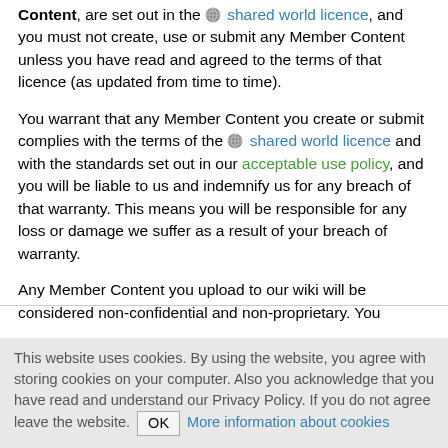Content, are set out in the 🌐 shared world licence, and you must not create, use or submit any Member Content unless you have read and agreed to the terms of that licence (as updated from time to time).
You warrant that any Member Content you create or submit complies with the terms of the 🌐 shared world licence and with the standards set out in our acceptable use policy, and you will be liable to us and indemnify us for any breach of that warranty. This means you will be responsible for any loss or damage we suffer as a result of your breach of warranty.
Any Member Content you upload to our wiki will be considered non-confidential and non-proprietary. You
This website uses cookies. By using the website, you agree with storing cookies on your computer. Also you acknowledge that you have read and understand our Privacy Policy. If you do not agree leave the website. OK More information about cookies